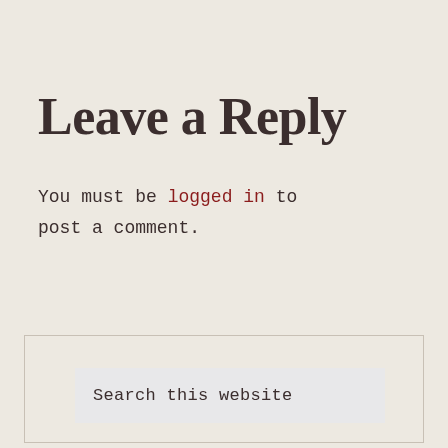Leave a Reply
You must be logged in to post a comment.
[Figure (screenshot): Search input field with placeholder text 'Search this website' inside a bordered box]